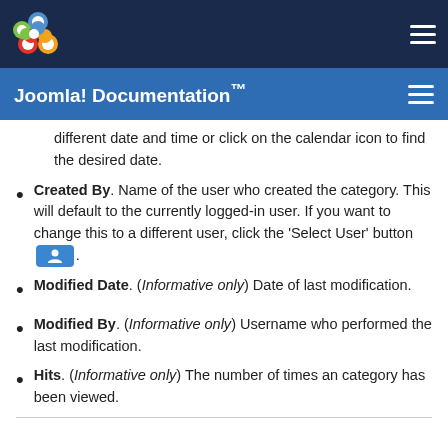Joomla! Documentation™
different date and time or click on the calendar icon to find the desired date.
Created By. Name of the user who created the category. This will default to the currently logged-in user. If you want to change this to a different user, click the 'Select User' button [button].
Modified Date. (Informative only) Date of last modification.
Modified By. (Informative only) Username who performed the last modification.
Hits. (Informative only) The number of times an category has been viewed.